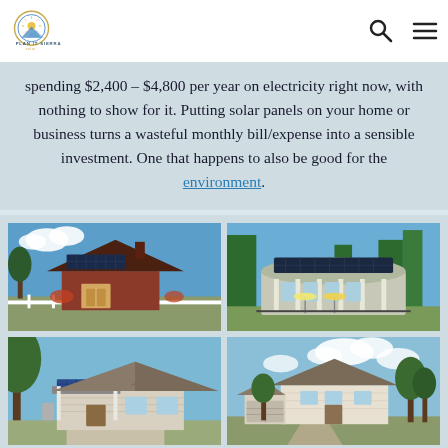Plan It Sierra Solar - logo, search icon, menu icon
spending $2,400 – $4,800 per year on electricity right now, with nothing to show for it. Putting solar panels on your home or business turns a wasteful monthly bill/expense into a sensible investment. One that happens to also be good for the environment.
[Figure (photo): Four photos of homes and businesses with solar panels installed on rooftops. Top-left: a red barn-style home with large solar array. Top-right: a round/circular commercial building with solar panels and outdoor umbrellas. Bottom-left: a small residential home with solar panels on porch roof. Bottom-right: a neighborhood residential house with blue sky background.]